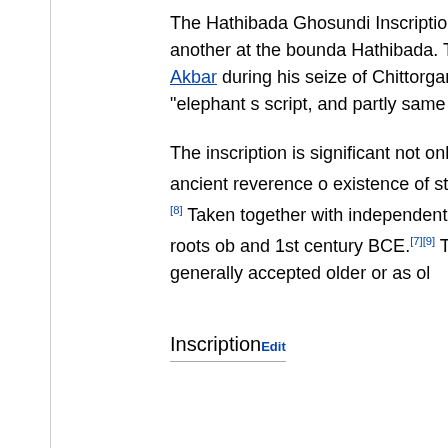The Hathibada Ghosundi Inscriptions were found in the ancient water well in Ghosundi, another at the boundary of Hathibada. The three fragments are each incomplete, emperor Akbar during his seize of Chittorgarh camped, gave the location its name "Hathi-bada" or "elephant s script, and partly same text as the Ghosundi well text,
The inscription is significant not only for its antiquity b religious beliefs.[5] It confirms the ancient reverence o existence of stone temple dedicated to them in 1st-ce sacrifice.[1][7][8] Taken together with independent evide Ghosundi Inscriptions suggest that one of the roots of and 1st century BCE.[7][9] They are not the oldest kno Cave Inscription are generally accepted older or as ol
InscriptionEdit